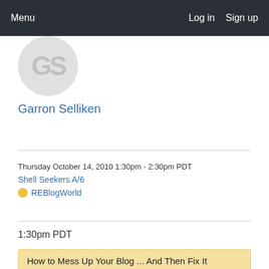Menu  Log in  Sign up
[Figure (illustration): Circular avatar placeholder with initials GS in gray]
Garron Selliken
Thursday October 14, 2010 1:30pm - 2:30pm PDT
Shell Seekers A/6
REBlogWorld
1:30pm PDT
How to Mess Up Your Blog ... And Then Fix It